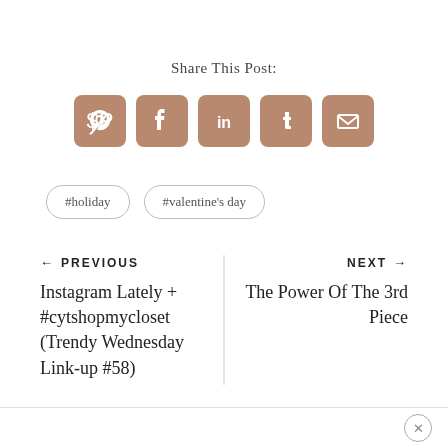Share This Post:
[Figure (infographic): Five social media share buttons (Pinterest, Facebook, LinkedIn, Tumblr, Email) in rounded brown squares]
#holiday
#valentine's day
← PREVIOUS
Instagram Lately + #cytshopmycloset (Trendy Wednesday Link-up #58)
NEXT →
The Power Of The 3rd Piece